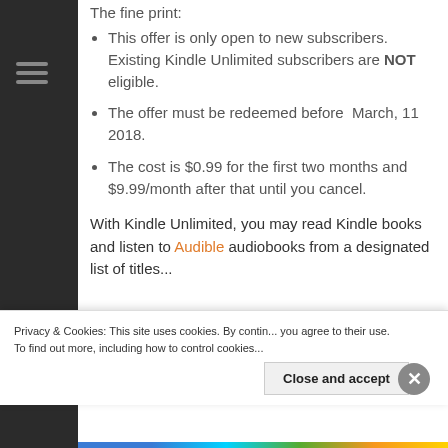The fine print:
This offer is only open to new subscribers. Existing Kindle Unlimited subscribers are NOT eligible.
The offer must be redeemed before  March, 11 2018.
The cost is $0.99 for the first two months and $9.99/month after that until you cancel.
With Kindle Unlimited, you may read Kindle books and listen to Audible audiobooks from a designated list of titles...
Privacy & Cookies: This site uses cookies. By continuing to use this website, you agree to their use. To find out more, including how to control cookies, see here: